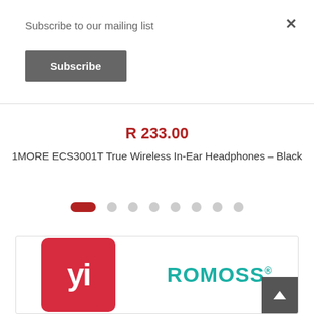Subscribe to our mailing list
Subscribe
×
R 233.00
1MORE ECS3001T True Wireless In-Ear Headphones - Black
[Figure (other): Carousel pagination dots: one active red pill-shaped dot followed by 7 grey circular dots]
[Figure (other): Brand logos section: YI logo (red square with white YI text) on left, ROMOSS text logo in teal on right]